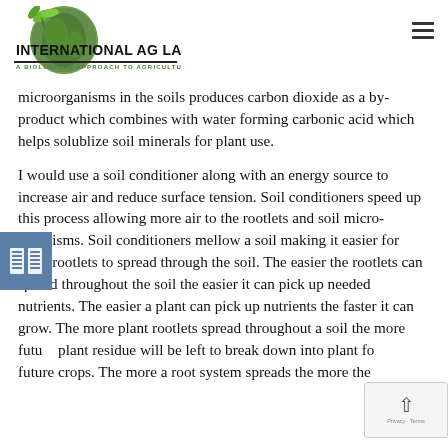[Figure (logo): International Ag Labs logo with globe and leaves, text 'INTERNATIONAL AG LABS / A BIOLOGICAL APPROACH TO AGRICULTURE']
microorganisms in the soils produces carbon dioxide as a by-product which combines with water forming carbonic acid which helps solublize soil minerals for plant use.
I would use a soil conditioner along with an energy source to increase air and reduce surface tension. Soil conditioners speed up this process allowing more air to the rootlets and soil micro-organisms. Soil conditioners mellow a soil making it easier for plant rootlets to spread through the soil. The easier the rootlets can spread throughout the soil the easier it can pick up needed nutrients. The easier a plant can pick up nutrients the faster it can grow. The more plant rootlets spread throughout a soil the more future plant residue will be left to break down into plant food for future crops. The more a root system spreads the more the